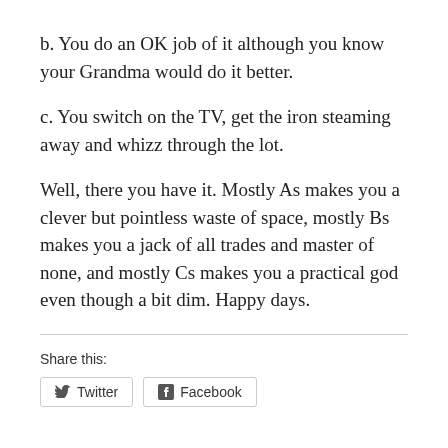b. You do an OK job of it although you know your Grandma would do it better.
c. You switch on the TV, get the iron steaming away and whizz through the lot.
Well, there you have it. Mostly As makes you a clever but pointless waste of space, mostly Bs makes you a jack of all trades and master of none, and mostly Cs makes you a practical god even though a bit dim. Happy days.
Share this:
Twitter  Facebook